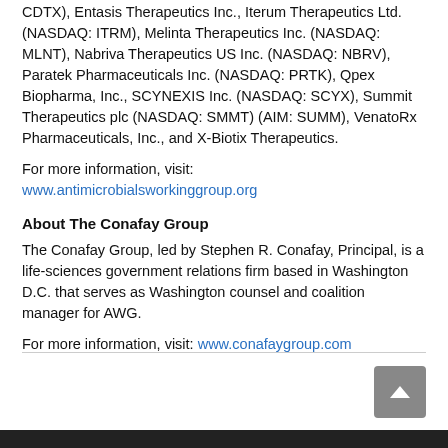CDTX), Entasis Therapeutics Inc., Iterum Therapeutics Ltd. (NASDAQ: ITRM), Melinta Therapeutics Inc. (NASDAQ: MLNT), Nabriva Therapeutics US Inc. (NASDAQ: NBRV), Paratek Pharmaceuticals Inc. (NASDAQ: PRTK), Qpex Biopharma, Inc., SCYNEXIS Inc. (NASDAQ: SCYX), Summit Therapeutics plc (NASDAQ: SMMT) (AIM: SUMM), VenatoRx Pharmaceuticals, Inc., and X-Biotix Therapeutics.
For more information, visit: www.antimicrobialsworkinggroup.org
About The Conafay Group
The Conafay Group, led by Stephen R. Conafay, Principal, is a life-sciences government relations firm based in Washington D.C. that serves as Washington counsel and coalition manager for AWG.
For more information, visit: www.conafaygroup.com